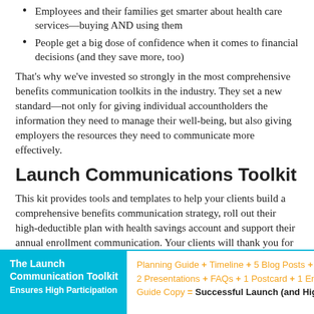Employees and their families get smarter about health care services—buying AND using them
People get a big dose of confidence when it comes to financial decisions (and they save more, too)
That's why we've invested so strongly in the most comprehensive benefits communication toolkits in the industry. They set a new standard—not only for giving individual accountholders the information they need to manage their well-being, but also giving employers the resources they need to communicate more effectively.
Launch Communications Toolkit
This kit provides tools and templates to help your clients build a comprehensive benefits communication strategy, roll out their high-deductible plan with health savings account and support their annual enrollment communication. Your clients will thank you for helping them feel confident in their communication kickoff and HSA benefit marketing.
| The Launch Communication Toolkit Ensures High Participation | Planning Guide + Timeline + 5 Blog Posts + 2 Vid... 2 Presentations + FAQs + 1 Postcard + 1 Email + ... Guide Copy = Successful Launch (and Higher En... |